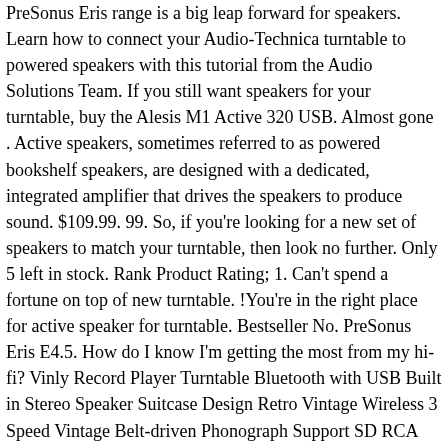PreSonus Eris range is a big leap forward for speakers. Learn how to connect your Audio-Technica turntable to powered speakers with this tutorial from the Audio Solutions Team. If you still want speakers for your turntable, buy the Alesis M1 Active 320 USB. Almost gone . Active speakers, sometimes referred to as powered bookshelf speakers, are designed with a dedicated, integrated amplifier that drives the speakers to produce sound. $109.99. 99. So, if you're looking for a new set of speakers to match your turntable, then look no further. Only 5 left in stock. Rank Product Rating; 1. Can't spend a fortune on top of new turntable. !You're in the right place for active speaker for turntable. Bestseller No. PreSonus Eris E4.5. How do I know I'm getting the most from my hi-fi? Vinly Record Player Turntable Bluetooth with USB Built in Stereo Speaker Suitcase Design Retro Vintage Wireless 3 Speed Vintage Belt-driven Phonograph Support SD RCA Out AUX in Retro Black. Top 10 Best Speakers For Vinyl On The Market 2020. Andrew Robinson 121,099